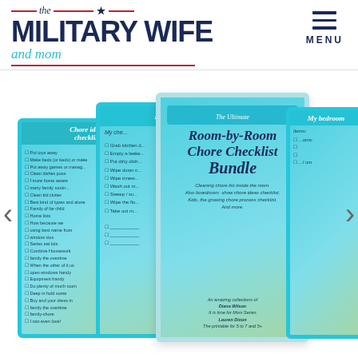[Figure (logo): The Military Wife and Mom website logo with navy blue bold text, teal cursive 'and mom', red horizontal rules, and a star icon]
[Figure (illustration): Navigation menu hamburger icon (three horizontal navy lines) with 'MENU' text below it]
[Figure (screenshot): Carousel showing multiple chore checklist printable cards including 'Kitchen', 'My bedroom', 'Chore ideas checklist', and a central card reading 'The Ultimate Room-by-Room Chore Checklist Bundle' with teal and green design. Left and right navigation arrows visible.]